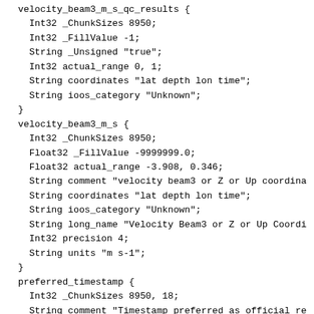velocity_beam3_m_s_qc_results {
    Int32 _ChunkSizes 8950;
    Int32 _FillValue -1;
    String _Unsigned "true";
    Int32 actual_range 0, 1;
    String coordinates "lat depth lon time";
    String ioos_category "Unknown";
  }
  velocity_beam3_m_s {
    Int32 _ChunkSizes 8950;
    Float32 _FillValue -9999999.0;
    Float32 actual_range -3.908, 0.346;
    String comment "velocity beam3 or Z or Up coordina
    String coordinates "lat depth lon time";
    String ioos_category "Unknown";
    String long_name "Velocity Beam3 or Z or Up Coordi
    Int32 precision 4;
    String units "m s-1";
  }
  preferred_timestamp {
    Int32 _ChunkSizes 8950, 18;
    String comment "Timestamp preferred as official re
    String coordinates "lat depth lon time";
    String ioos_category "Unknown";
    String long_name "Preferred Timestamp";